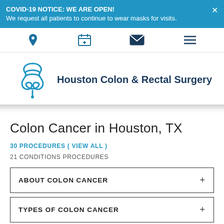COVID-19 NOTICE: WE ARE OPEN!
We request all patients to continue to wear masks for visits.
[Figure (screenshot): Navigation icon bar with map pin, calendar with plus, envelope/mail, and hamburger menu icons in blue and dark navy]
[Figure (logo): Houston Colon & Rectal Surgery logo with stylized intestine icon in blue and text]
Colon Cancer in Houston, TX
30 PROCEDURES ( VIEW ALL )
21 CONDITIONS PROCEDURES
ABOUT COLON CANCER
TYPES OF COLON CANCER